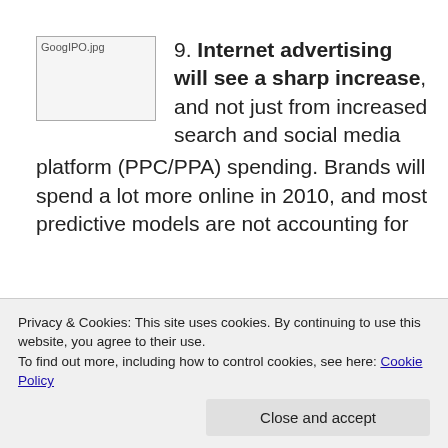[Figure (photo): GoogIPO.jpg image placeholder]
9. Internet advertising will see a sharp increase, and not just from increased search and social media platform (PPC/PPA) spending. Brands will spend a lot more online in 2010, and most predictive models are not accounting for
Privacy & Cookies: This site uses cookies. By continuing to use this website, you agree to their use. To find out more, including how to control cookies, see here: Cookie Policy
ones you miss. The tech/Internet industry